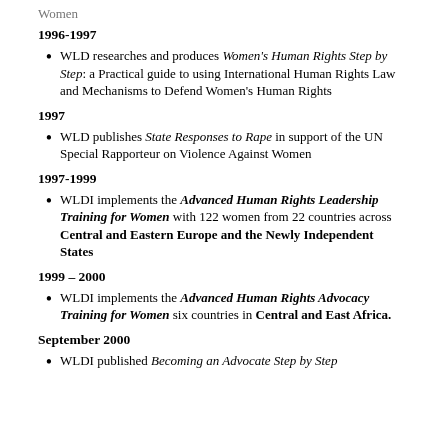Women
1996-1997
WLD researches and produces Women's Human Rights Step by Step: a Practical guide to using International Human Rights Law and Mechanisms to Defend Women's Human Rights
1997
WLD publishes State Responses to Rape in support of the UN Special Rapporteur on Violence Against Women
1997-1999
WLDI implements the Advanced Human Rights Leadership Training for Women with 122 women from 22 countries across Central and Eastern Europe and the Newly Independent States
1999 – 2000
WLDI implements the Advanced Human Rights Advocacy Training for Women six countries in Central and East Africa.
September 2000
WLDI published Becoming an Advocate Step by Step